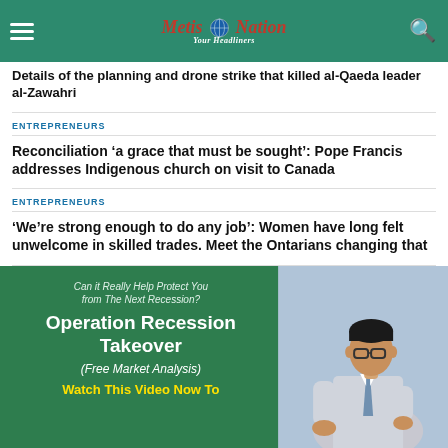Metis Nation - Your Headliners
Details of the planning and drone strike that killed al-Qaeda leader al-Zawahri
ENTREPRENEURS
Reconciliation 'a grace that must be sought': Pope Francis addresses Indigenous church on visit to Canada
ENTREPRENEURS
'We're strong enough to do any job': Women have long felt unwelcome in skilled trades. Meet the Ontarians changing that
[Figure (photo): Advertisement banner with green background showing 'Operation Recession Takeover (Free Market Analysis)' text and a man in a suit speaking. Text reads: Can it Really Help Protect You from The Next Recession? Watch This Video Now To]